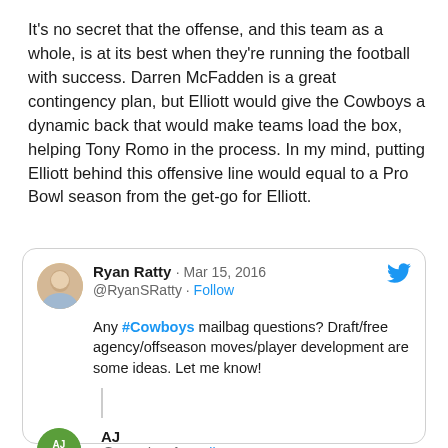It's no secret that the offense, and this team as a whole, is at its best when they're running the football with success. Darren McFadden is a great contingency plan, but Elliott would give the Cowboys a dynamic back that would make teams load the box, helping Tony Romo in the process. In my mind, putting Elliott behind this offensive line would equal to a Pro Bowl season from the get-go for Elliott.
[Figure (screenshot): Embedded tweet from Ryan Ratty (@RyanSRatty) dated Mar 15, 2016 with Follow link and Twitter bird icon. Tweet text: 'Any #Cowboys mailbag questions? Draft/free agency/offseason moves/player development are some ideas. Let me know!' Followed by a second tweet from AJ (@AJIndDraft) with Follow link.]